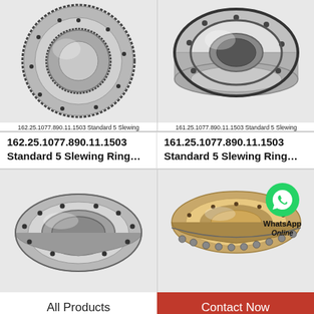[Figure (photo): Slewing ring bearing with external gear teeth, top-down view, metallic silver, 162.25.1077.890.11.1503 Standard 5 Slewing]
[Figure (photo): Slewing ring bearing compact type, angled perspective, metallic silver with bolt holes, 161.25.1077.890.11.1503 Standard 5 Slewing]
162.25.1077.890.11.1503 Standard 5 Slewing
161.25.1077.890.11.1503 Standard 5 Slewing
162.25.1077.890.11.1503 Standard 5 Slewing Ring…
161.25.1077.890.11.1503 Standard 5 Slewing Ring…
[Figure (photo): Large slewing ring bearing, flat type with bolt holes around perimeter, metallic silver finish, angled view]
[Figure (photo): Slewing ring bearing, narrow cross-section type with ball bearings visible at bottom, bronze/steel metallic finish]
[Figure (logo): WhatsApp logo green speech bubble with phone icon, with text WhatsApp Online]
All Products
Contact Now